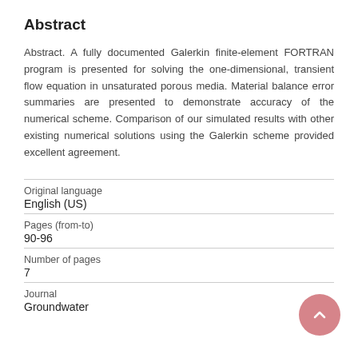Abstract
Abstract. A fully documented Galerkin finite-element FORTRAN program is presented for solving the one-dimensional, transient flow equation in unsaturated porous media. Material balance error summaries are presented to demonstrate accuracy of the numerical scheme. Comparison of our simulated results with other existing numerical solutions using the Galerkin scheme provided excellent agreement.
| Original language | English (US) |
| Pages (from-to) | 90-96 |
| Number of pages | 7 |
| Journal | Groundwater |